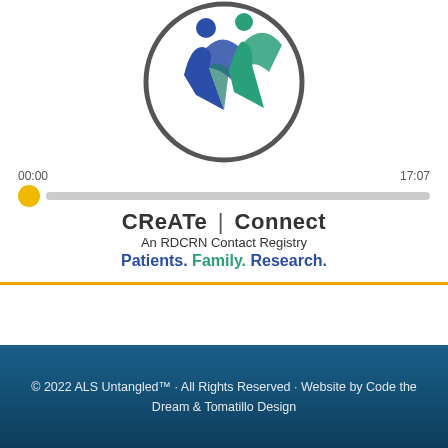[Figure (logo): CReATe Connect logo — two stylized human figures (blue and teal) inside a dark gray circle, with media player controls below showing timestamp 00:00 and 17:07, a yellow play button dot, and a progress bar. Below: 'CReATe | Connect An RDCRN Contact Registry. Patients. Family. Research.']
© 2022 ALS Untangled™ · All Rights Reserved · Website by Code the Dream & Tomatillo Design